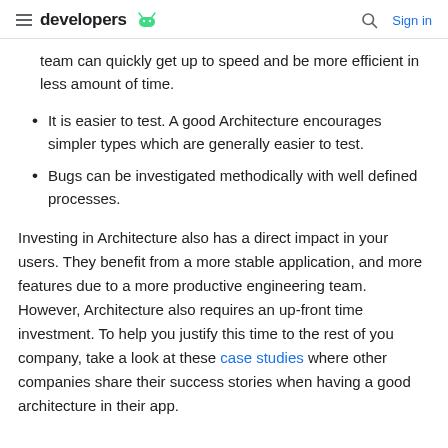developers | Sign in
team can quickly get up to speed and be more efficient in less amount of time.
It is easier to test. A good Architecture encourages simpler types which are generally easier to test.
Bugs can be investigated methodically with well defined processes.
Investing in Architecture also has a direct impact in your users. They benefit from a more stable application, and more features due to a more productive engineering team. However, Architecture also requires an up-front time investment. To help you justify this time to the rest of you company, take a look at these case studies where other companies share their success stories when having a good architecture in their app.